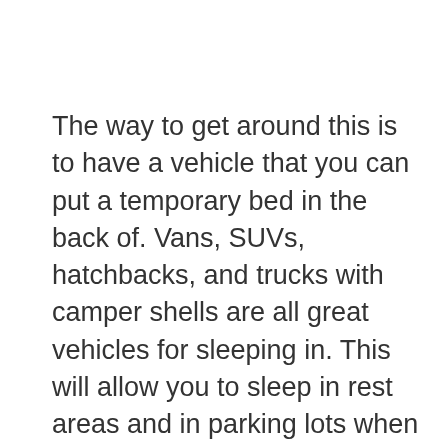The way to get around this is to have a vehicle that you can put a temporary bed in the back of. Vans, SUVs, hatchbacks, and trucks with camper shells are all great vehicles for sleeping in. This will allow you to sleep in rest areas and in parking lots when you are in urban areas and then sleep in your tent when you are camping.